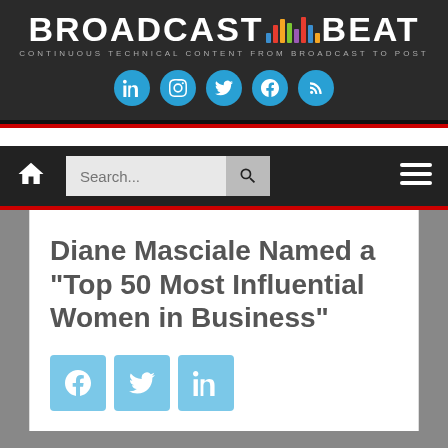BROADCAST BEAT — CONTINUOUS TECHNICAL CONTENT FROM BROADCAST TO POST
[Figure (screenshot): Broadcast Beat website header with logo, social media icons (LinkedIn, Instagram, Twitter, Facebook, RSS), navigation bar with home icon, search bar, and hamburger menu]
Diane Masciale Named a “Top 50 Most Influential Women in Business”